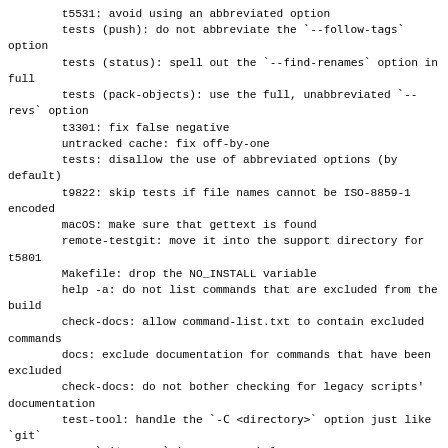t5531: avoid using an abbreviated option
tests (push): do not abbreviate the `--follow-tags` option
tests (status): spell out the `--find-renames` option in full
tests (pack-objects): use the full, unabbreviated `--revs` option
t3301: fix false negative
untracked cache: fix off-by-one
tests: disallow the use of abbreviated options (by default)
t9822: skip tests if file names cannot be ISO-8859-1 encoded
macOS: make sure that gettext is found
remote-testgit: move it into the support directory for t5801
Makefile: drop the NO_INSTALL variable
help -a: do not list commands that are excluded from the build
check-docs: allow command-list.txt to contain excluded commands
docs: exclude documentation for commands that have been excluded
check-docs: do not bother checking for legacy scripts' documentation
test-tool: handle the `-C <directory>` option just like `git`
Turn `git serve` into a test helper
t5580: verify that alternates can be UNC paths
fsmonitor: demonstrate that it is not refreshed